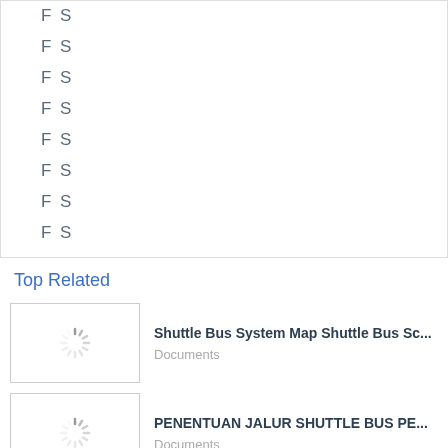F S
F S
F S
F S
F S
F S
F S
F S
Top Related
[Figure (screenshot): Loading spinner thumbnail for Shuttle Bus System Map document]
Shuttle Bus System Map Shuttle Bus Sc...
Documents
[Figure (screenshot): Loading spinner thumbnail for PENENTUAN JALUR SHUTTLE BUS PE document]
PENENTUAN JALUR SHUTTLE BUS PE...
Documents